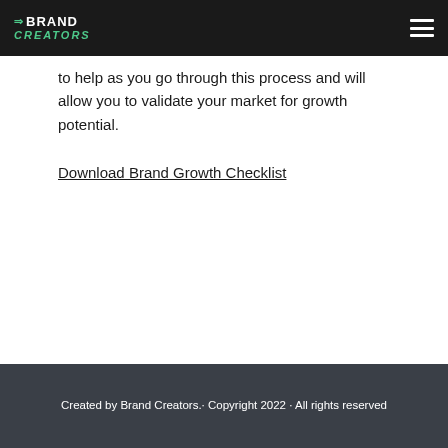Brand Creators
to help as you go through this process and will allow you to validate your market for growth potential.
Download Brand Growth Checklist
Created by Brand Creators. Copyright 2022 · All rights reserved